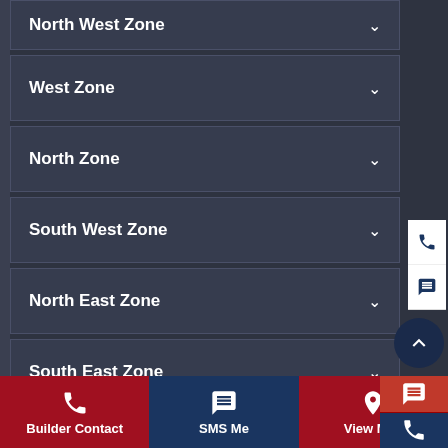North West Zone
West Zone
North Zone
South West Zone
North East Zone
South East Zone
Plots East Zone
Plots South East Zone
Builder Contact | SMS Me | View Map